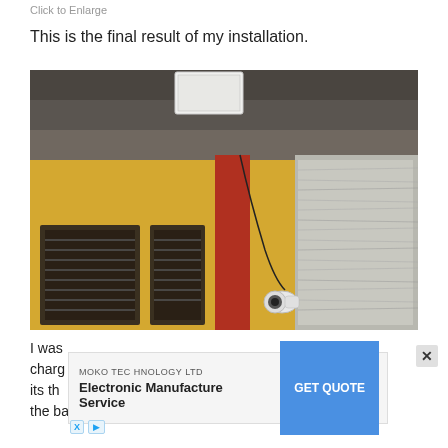Click to Enlarge
This is the final result of my installation.
[Figure (photo): Outdoor security camera installation photo showing a bullet camera hanging from a wire under a building eave/roof overhang, with yellow walls, a red column, and windows visible. A white solar panel or device is mounted on top of the roof.]
I was ... antly charge ... ng its the ... ut the battery charge is basically always over 90%. Of
[Figure (other): Advertisement overlay: MOKO TECHNOLOGY LTD Electronic Manufacture Service with GET QUOTE button, partially obscuring the body text. An X close button is shown to the right. Small X and play icons appear below the ad.]